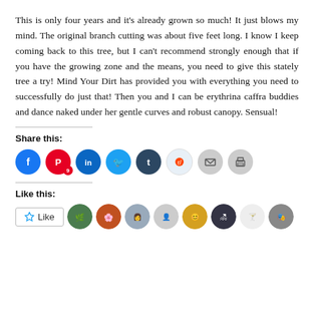This is only four years and it's already grown so much! It just blows my mind. The original branch cutting was about five feet long. I know I keep coming back to this tree, but I can't recommend strongly enough that if you have the growing zone and the means, you need to give this stately tree a try! Mind Your Dirt has provided you with everything you need to successfully do just that! Then you and I can be erythrina caffra buddies and dance naked under her gentle curves and robust canopy. Sensual!
Share this:
[Figure (infographic): Social share buttons: Facebook, Pinterest (9), LinkedIn, Twitter, Tumblr, Reddit, Email, Print]
Like this:
[Figure (infographic): Like button and avatar icons of people who liked the post]